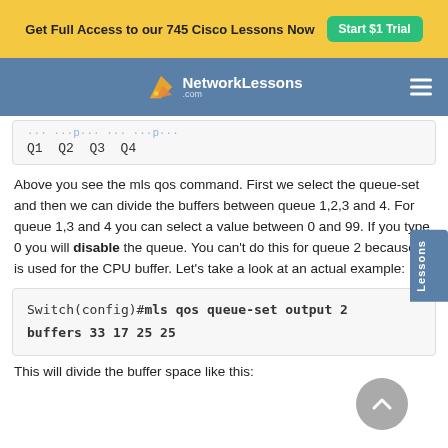Get Full Access to our 745 Cisco Lessons Now  Start $1 Trial
[Figure (logo): NetworkLessons.com logo with navigation bar on blue background]
Q1 Q2 Q3 Q4
Above you see the mls qos command. First we select the queue-set and then we can divide the buffers between queue 1,2,3 and 4. For queue 1,3 and 4 you can select a value between 0 and 99. If you type 0 you will disable the queue. You can't do this for queue 2 because it is used for the CPU buffer. Let's take a look at an actual example:
Switch(config)#mls qos queue-set output 2 buffers 33 17 25 25
This will divide the buffer space like this: